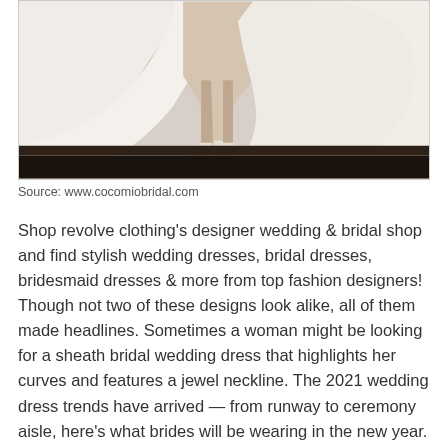[Figure (photo): Close-up photo of a bride's lower body wearing a white flowing wedding dress with a slit, showing legs in nude stockings and white heels, on a dark wooden floor with a light grey background.]
Source: www.cocomiobridal.com
Shop revolve clothing's designer wedding & bridal shop and find stylish wedding dresses, bridal dresses, bridesmaid dresses & more from top fashion designers! Though not two of these designs look alike, all of them made headlines. Sometimes a woman might be looking for a sheath bridal wedding dress that highlights her curves and features a jewel neckline. The 2021 wedding dress trends have arrived — from runway to ceremony aisle, here's what brides will be wearing in the new year. A simple wedding dress is a blank canvas, giving each bride the ability to highlight the features they want.